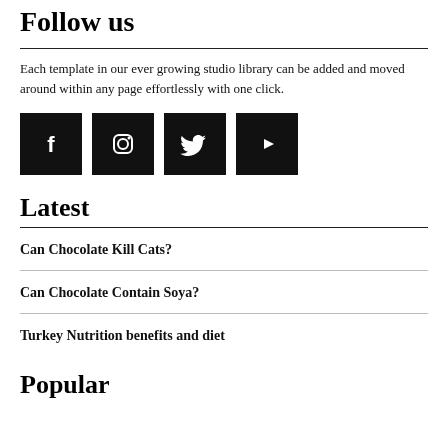Follow us
Each template in our ever growing studio library can be added and moved around within any page effortlessly with one click.
[Figure (infographic): Four black square social media icon buttons: Facebook (f), Instagram (camera), Twitter (bird), YouTube (play button)]
Latest
Can Chocolate Kill Cats?
Can Chocolate Contain Soya?
Turkey Nutrition benefits and diet
Popular